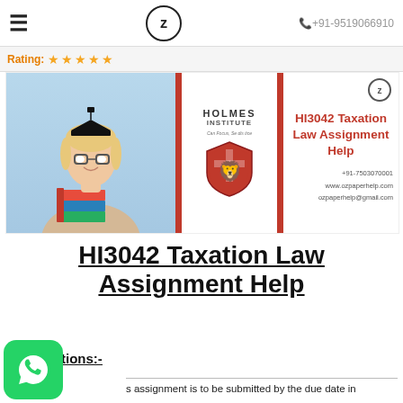≡  Z  +91-9519066910
Rating: ★★★★★
[Figure (illustration): Holmes Institute banner with student holding books, institute logo, and text: HI3042 Taxation Law Assignment Help. Contact: +91-7503070001, www.ozpaperhelp.com, ozpaperhelp@gmail.com]
HI3042 Taxation Law Assignment Help
Instructions:-
s assignment is to be submitted by the due date in